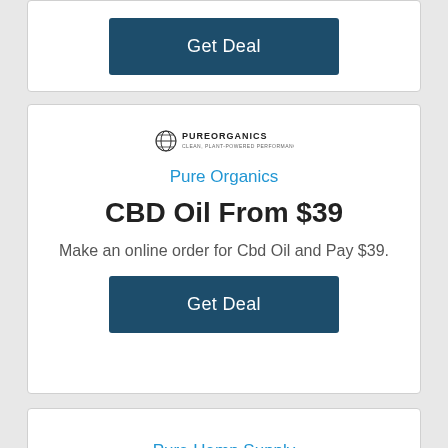[Figure (other): Get Deal button in dark teal/navy blue color, white text]
[Figure (logo): Pure Organics logo with globe icon and text PUREORGANICS]
Pure Organics
CBD Oil From $39
Make an online order for Cbd Oil and Pay $39.
[Figure (other): Get Deal button in dark teal/navy blue color, white text]
Pure Hemp Supply